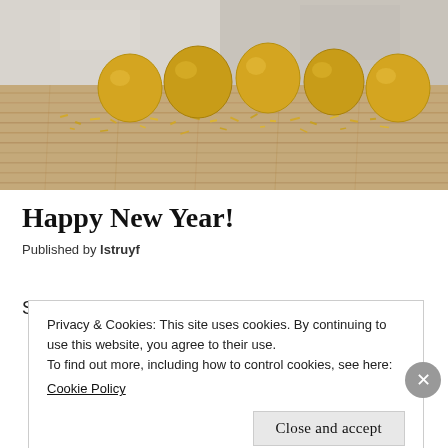[Figure (photo): Photo of golden balloons and gold glitter confetti scattered on a wooden floor surface against a white painted wall background]
Happy New Year!
Published by lstruyf
Privacy & Cookies: This site uses cookies. By continuing to use this website, you agree to their use.
To find out more, including how to control cookies, see here: Cookie Policy
Close and accept